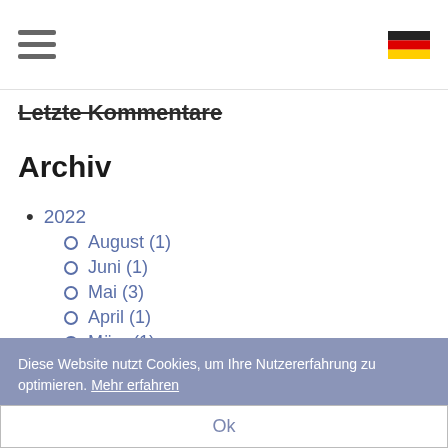Letzte Kommentare
Letzte Kommentare
Archiv
2022
August (1)
Juni (1)
Mai (3)
April (1)
März (1)
Januar (1)
2021
Dezember (1)
Diese Website nutzt Cookies, um Ihre Nutzererfahrung zu optimieren. Mehr erfahren
Ok